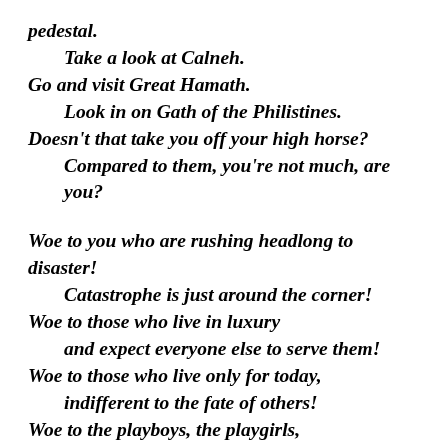pedestal.
    Take a look at Calneh.
Go and visit Great Hamath.
    Look in on Gath of the Philistines.
Doesn't that take you off your high horse?
    Compared to them, you're not much, are you?

Woe to you who are rushing headlong to disaster!
    Catastrophe is just around the corner!
Woe to those who live in luxury
    and expect everyone else to serve them!
Woe to those who live only for today,
    indifferent to the fate of others!
Woe to the playboys, the playgirls,